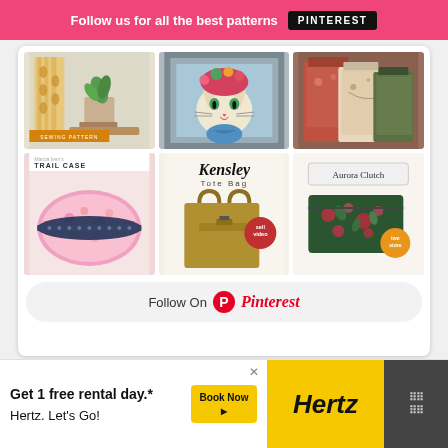Follow us for all the best patterns PINTEREST
[Figure (screenshot): Pinterest grid collage showing sewing patterns: fabric organizer with sewing pattern label, cat portrait quilt panel, tote bags, Marcia Iven's Trail Case pink sewing bag, Kensley Tote Bag with sell video badge, Aurora Clutch two sizes]
Follow On Pinterest
[Figure (screenshot): Advertisement for Hertz car rental: Get 1 free rental day.* Hertz. Let's Go! with Book Now button and Hertz logo]